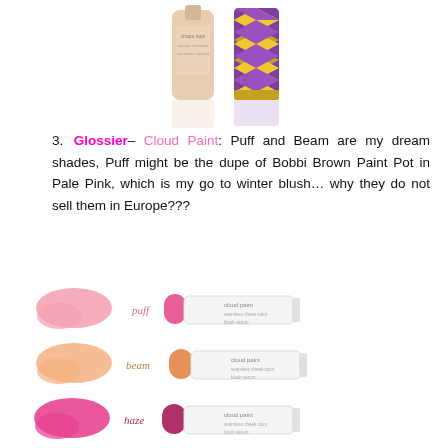[Figure (photo): Two Tarte Shape Tape concealer products on white background — a nude-toned bottle and a purple/gold patterned tube, with reflections visible]
3. Glossier– Cloud Paint: Puff and Beam are my dream shades, Puff might be the dupe of Bobbi Brown Paint Pot in Pale Pink, which is my go to winter blush… why they do not sell them in Europe???
[Figure (photo): Three Glossier Cloud Paint cheek color tubes with swatches: puff (light pink), beam (peach/coral), haze (bright pink/magenta), each tube white with labeled cap color]